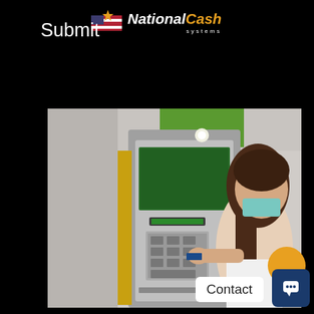[Figure (logo): NationalCash Systems logo with star and flag icon, white and orange text on black background]
Submit
[Figure (photo): Woman wearing a face mask using an ATM machine, inserting a card into the card reader]
Contact